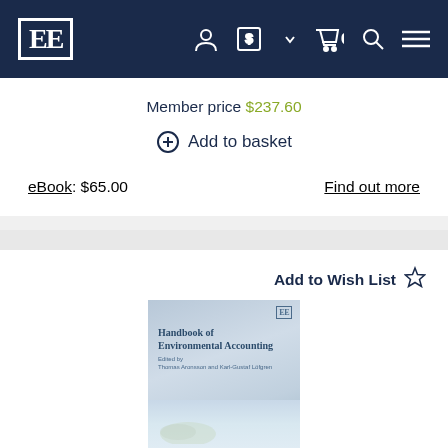EE [logo] navigation bar with account, currency, cart (0), search, menu icons
Member price $237.60
⊕ Add to basket
eBook: $65.00   Find out more
Add to Wish List ☆
[Figure (photo): Book cover of 'Handbook of Environmental Accounting' edited by Thomas Aronsson and Karl-Gustaf Löfgren, with a light blue-gray design featuring the EE publisher logo]